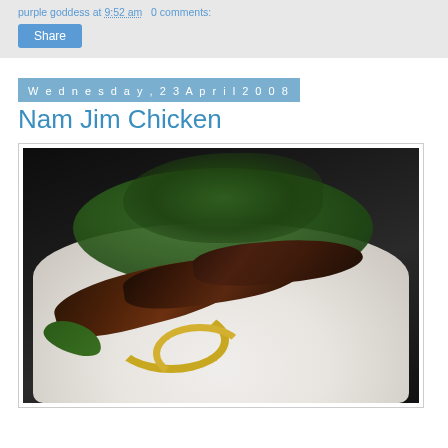purple goddess at 9:52 am   0 comments:
Share
Wednesday, 23 April 2008
Nam Jim Chicken
[Figure (photo): Photo of Nam Jim Chicken dish on a white plate with charred grilled chicken pieces, fresh herbs including cilantro and green onions, yellow noodles, and green leaves, on a dark background]